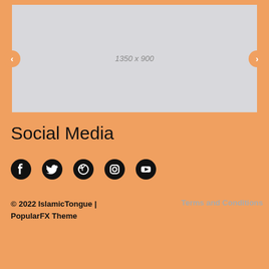[Figure (screenshot): Image slider placeholder showing '1350 x 900' with left and right orange navigation arrows on a light gray background]
Social Media
[Figure (infographic): Row of five social media icons: Facebook, Twitter, Dribbble, Instagram, YouTube]
© 2022 IslamicTongue | PopularFX Theme
Terms and Conditions